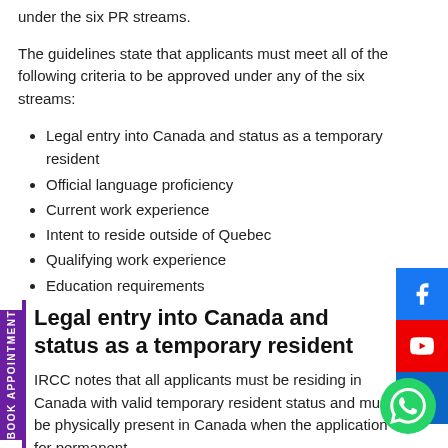under the six PR streams.
The guidelines state that applicants must meet all of the following criteria to be approved under any of the six streams:
Legal entry into Canada and status as a temporary resident
Official language proficiency
Current work experience
Intent to reside outside of Quebec
Qualifying work experience
Education requirements
Legal entry into Canada and status as a temporary resident
IRCC notes that all applicants must be residing in Canada with valid temporary resident status and must be physically present in Canada when the application for permanent